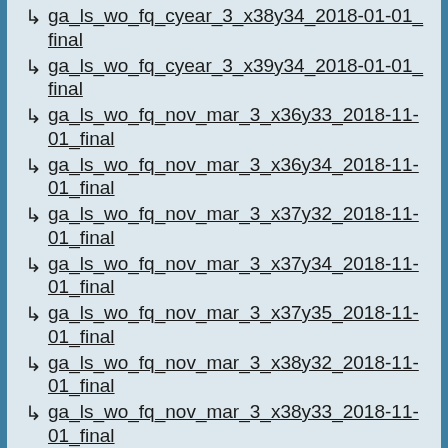↳ ga_ls_wo_fq_cyear_3_x38y34_2018-01-01_final
↳ ga_ls_wo_fq_cyear_3_x39y34_2018-01-01_final
↳ ga_ls_wo_fq_nov_mar_3_x36y33_2018-11-01_final
↳ ga_ls_wo_fq_nov_mar_3_x36y34_2018-11-01_final
↳ ga_ls_wo_fq_nov_mar_3_x37y32_2018-11-01_final
↳ ga_ls_wo_fq_nov_mar_3_x37y34_2018-11-01_final
↳ ga_ls_wo_fq_nov_mar_3_x37y35_2018-11-01_final
↳ ga_ls_wo_fq_nov_mar_3_x38y32_2018-11-01_final
↳ ga_ls_wo_fq_nov_mar_3_x38y33_2018-11-01_final
↳ ga_ls_wo_fq_nov_mar_3_x38y34_2018-11-